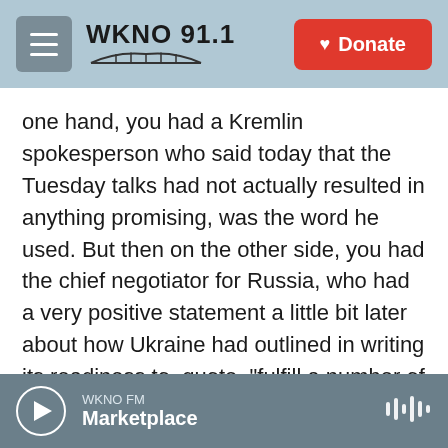WKNO 91.1 | Donate
one hand, you had a Kremlin spokesperson who said today that the Tuesday talks had not actually resulted in anything promising, was the word he used. But then on the other side, you had the chief negotiator for Russia, who had a very positive statement a little bit later about how Ukraine had outlined in writing its readiness to, quote, "fulfill a number of important conditions" to basically rebuild the relationship with Russia, as they put it.
And so what's next is that negotiators are going to go home from Turkey. They're going to take a few breaks - take a few days to take a break. They're
WKNO FM — Marketplace